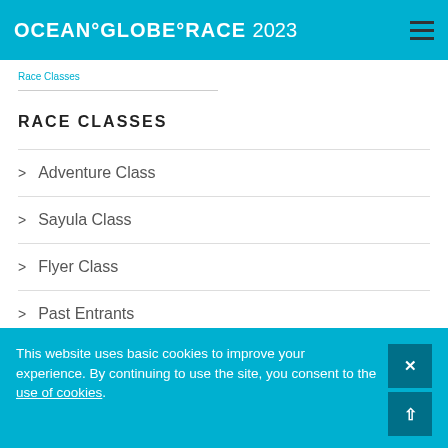OCEAN°GLOBE°RACE 2023
RACE CLASSES
> Adventure Class
> Sayula Class
> Flyer Class
> Past Entrants
This website uses basic cookies to improve your experience. By continuing to use the site, you consent to the use of cookies.